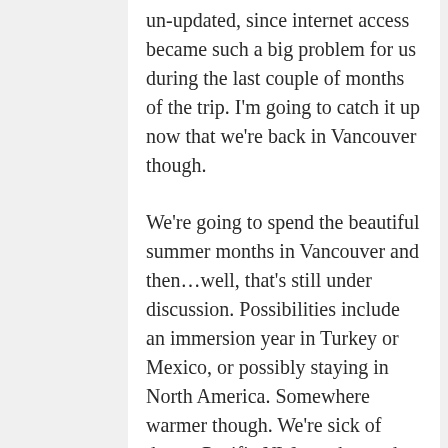un-updated, since internet access became such a big problem for us during the last couple of months of the trip. I'm going to catch it up now that we're back in Vancouver though.
We're going to spend the beautiful summer months in Vancouver and then...well, that's still under discussion. Possibilities include an immersion year in Turkey or Mexico, or possibly staying in North America. Somewhere warmer though. We're sick of dreary Pacific NW weather and ridiculous Vancouver housing